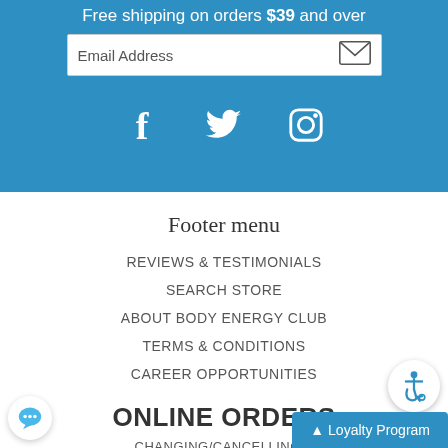Free shipping on orders $39 and over
[Figure (other): Email address input bar with envelope icon]
[Figure (other): Social media icons: Facebook, Twitter, Instagram on blue background]
Footer menu
REVIEWS & TESTIMONIALS
SEARCH STORE
ABOUT BODY ENERGY CLUB
TERMS & CONDITIONS
CAREER OPPORTUNITIES
ONLINE ORDERS
CHANGING/CANCELLING A
[Figure (other): Accessibility icon button (wheelchair symbol) in white circle]
[Figure (other): Chat bubble icon in white circle]
Loyalty Program